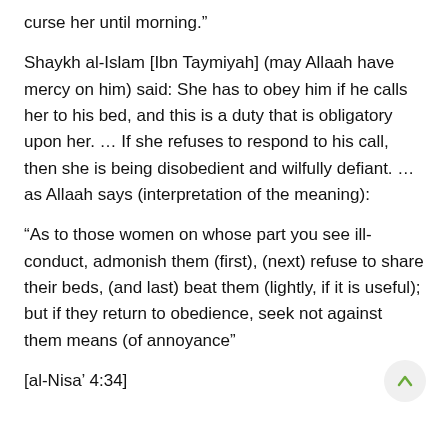curse her until morning.”
Shaykh al-Islam [Ibn Taymiyah] (may Allaah have mercy on him) said: She has to obey him if he calls her to his bed, and this is a duty that is obligatory upon her. … If she refuses to respond to his call, then she is being disobedient and wilfully defiant. … as Allaah says (interpretation of the meaning):
“As to those women on whose part you see ill-conduct, admonish them (first), (next) refuse to share their beds, (and last) beat them (lightly, if it is useful); but if they return to obedience, seek not against them means (of annoyance”
[al-Nisa’ 4:34]